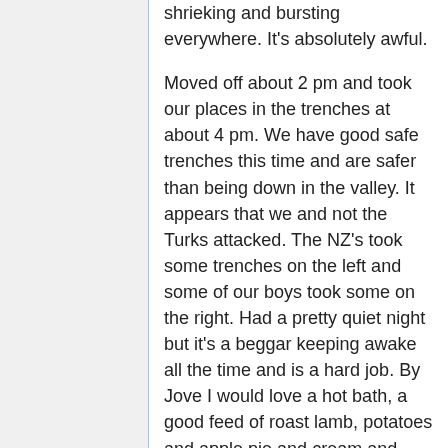shrieking and bursting everywhere. It's absolutely awful.

Moved off about 2 pm and took our places in the trenches at about 4 pm. We have good safe trenches this time and are safer than being down in the valley. It appears that we and not the Turks attacked. The NZ's took some trenches on the left and some of our boys took some on the right. Had a pretty quiet night but it's a beggar keeping awake all the time and is a hard job. By Jove I would love a hot bath, a good feed of roast lamb, potatoes and apple pie and cream and then into a good bed for about two days: My word, how I would sleep! During the night the Turks sent up some flare lights which then lit the whole place up for a few seconds and makes you wonder what's doing. We expected